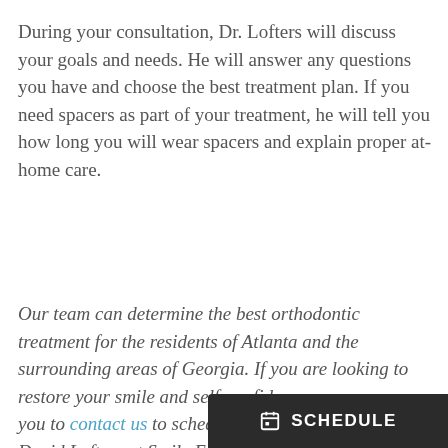During your consultation, Dr. Lofters will discuss your goals and needs. He will answer any questions you have and choose the best treatment plan. If you need spacers as part of your treatment, he will tell you how long you will wear spacers and explain proper at-home care.
Our team can determine the best orthodontic treatment for the residents of Atlanta and the surrounding areas of Georgia. If you are looking to restore your smile and self-confidence, we encourage you to contact us to schedule an appointment with Dr. David Lofters at Smile Envy Dental Group to discuss your op...